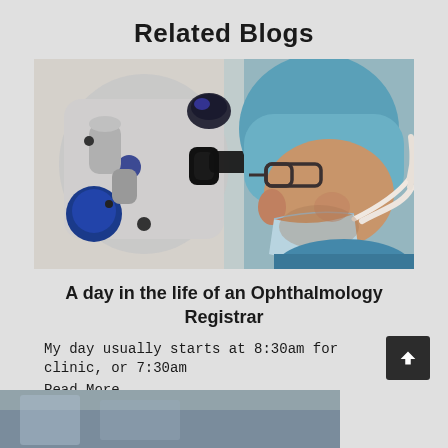Related Blogs
[Figure (photo): A medical professional wearing surgical scrubs, a blue surgical cap, a mask, and glasses, looking through an ophthalmology microscope/slit lamp in a clinical setting.]
A day in the life of an Ophthalmology Registrar
My day usually starts at 8:30am for clinic, or 7:30am
Read More..
[Figure (photo): Partially visible image at the bottom of the page, appears to be a medical or clinical setting image, cropped.]